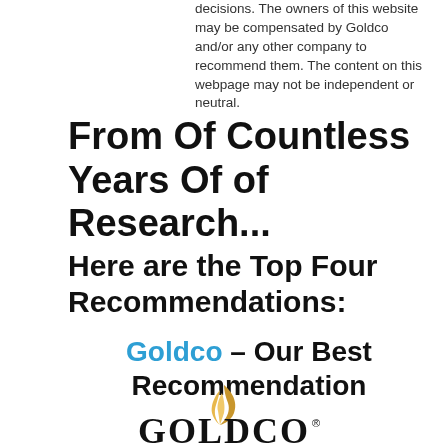decisions. The owners of this website may be compensated by Goldco and/or any other company to recommend them. The content on this webpage may not be independent or neutral.
From Of Countless Years Of of Research...
Here are the Top Four Recommendations:
Goldco – Our Best Recommendation
[Figure (logo): Goldco logo with stylized golden flame above the text GOLDCO with a registered trademark symbol]